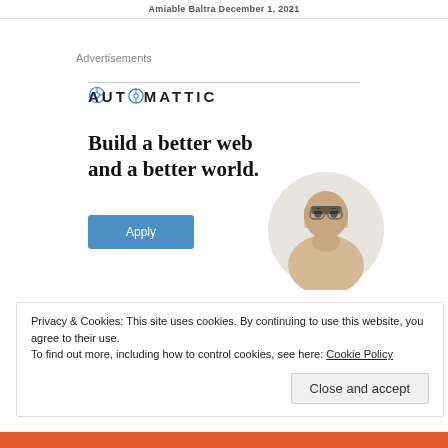Amiable Baltra December 1, 2021
Advertisements
[Figure (logo): Automattic logo with compass icon replacing the letter O]
[Figure (infographic): Automattic job advertisement: 'Build a better web and a better world.' with a blue Apply button and a circular photo of a man with glasses]
Privacy & Cookies: This site uses cookies. By continuing to use this website, you agree to their use.
To find out more, including how to control cookies, see here: Cookie Policy
Close and accept